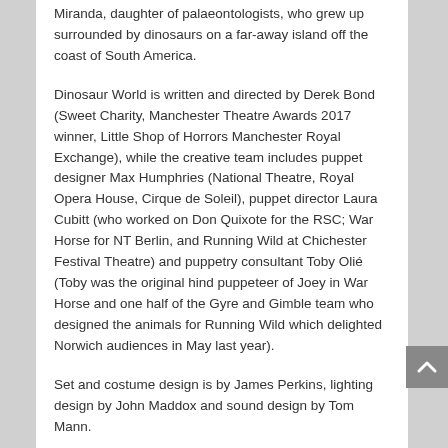Miranda, daughter of palaeontologists, who grew up surrounded by dinosaurs on a far-away island off the coast of South America.
Dinosaur World is written and directed by Derek Bond (Sweet Charity, Manchester Theatre Awards 2017 winner, Little Shop of Horrors Manchester Royal Exchange), while the creative team includes puppet designer Max Humphries (National Theatre, Royal Opera House, Cirque de Soleil), puppet director Laura Cubitt (who worked on Don Quixote for the RSC; War Horse for NT Berlin, and Running Wild at Chichester Festival Theatre) and puppetry consultant Toby Olié (Toby was the original hind puppeteer of Joey in War Horse and one half of the Gyre and Gimble team who designed the animals for Running Wild which delighted Norwich audiences in May last year).
Set and costume design is by James Perkins, lighting design by John Maddox and sound design by Tom Mann.
Dinosaur World is performed by Elizabeth Mary Williams (Miranda), Samantha Arends (Puppeteer), Darcy Collins (Puppeteer), Alexandra Harman